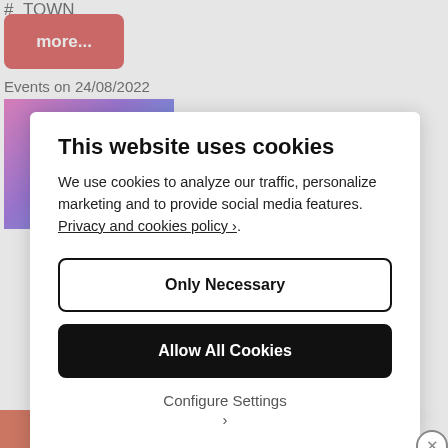#_TOWN
[Figure (screenshot): Red button with text 'more...']
Events on 24/08/2022
[Figure (photo): Colorful gradient image thumbnail]
This website uses cookies
We use cookies to analyze our traffic, personalize marketing and to provide social media features. Privacy and cookies policy ›.
Only Necessary
Allow All Cookies
Configure Settings ›
[Figure (screenshot): Bottom advertisement bar with 'All in One Free App' pill button and DuckDuckGo logo]